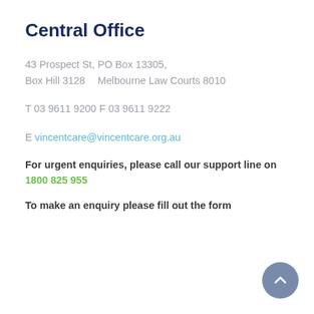Central Office
43 Prospect St,
Box Hill 3128
PO Box 13305,
Melbourne Law Courts 8010
T 03 9611 9200
F 03 9611 9222
E vincentcare@vincentcare.org.au
For urgent enquiries, please call our support line on 1800 825 955
To make an enquiry please fill out the form